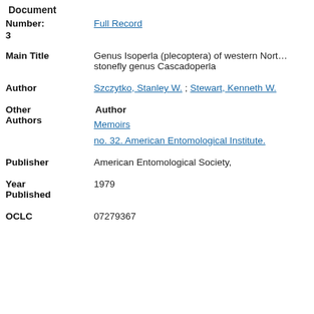Document
| Number: | Full Record |
| 3 |  |
| Main Title | Genus Isoperla (plecoptera) of western North America, and a new stonefly genus Cascadoperla |
| Author | Szczytko, Stanley W. ; Stewart, Kenneth W. |
| Other Authors | Author
Memoirs
no. 32. American Entomological Institute. |
| Publisher | American Entomological Society, |
| Year Published | 1979 |
| OCLC | 07279367 |